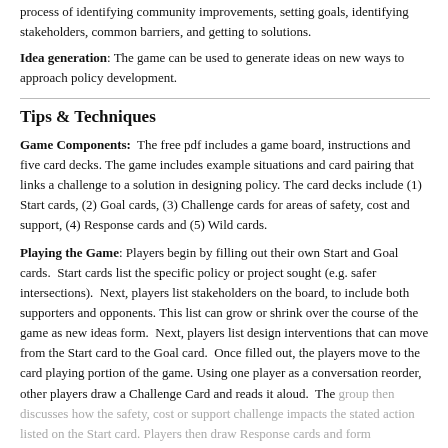process of identifying community improvements, setting goals, identifying stakeholders, common barriers, and getting to solutions.
Idea generation: The game can be used to generate ideas on new ways to approach policy development.
Tips & Techniques
Game Components: The free pdf includes a game board, instructions and five card decks. The game includes example situations and card pairing that links a challenge to a solution in designing policy. The card decks include (1) Start cards, (2) Goal cards, (3) Challenge cards for areas of safety, cost and support, (4) Response cards and (5) Wild cards.
Playing the Game: Players begin by filling out their own Start and Goal cards. Start cards list the specific policy or project sought (e.g. safer intersections). Next, players list stakeholders on the board, to include both supporters and opponents. This list can grow or shrink over the course of the game as new ideas form. Next, players list design interventions that can move from the Start card to the Goal card. Once filled out, the players move to the card playing portion of the game. Using one player as a conversation reorder, other players draw a Challenge Card and reads it aloud. The group then discusses how the safety, cost or support challenge impacts the stated action listed on the Start card. Players then draw Response cards and form